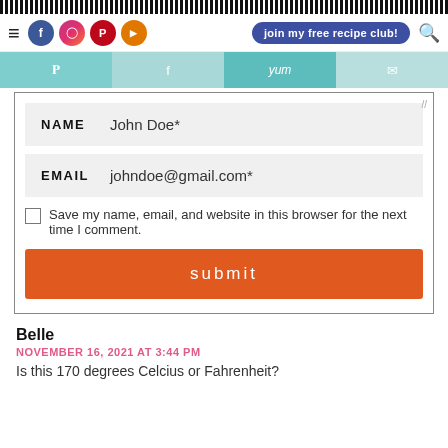barcode strip
[Figure (screenshot): Website navigation bar with hamburger menu, social icons (Facebook, Instagram, Pinterest, YouTube), a 'join my free recipe club!' button, and a search icon]
[Figure (screenshot): Social share bar with Pinterest, Facebook, Yum, and Email icons]
NAME   John Doe*
EMAIL   johndoe@gmail.com*
Save my name, email, and website in this browser for the next time I comment.
submit
Belle
NOVEMBER 16, 2021 AT 3:44 PM
Is this 170 degrees Celcius or Fahrenheit?